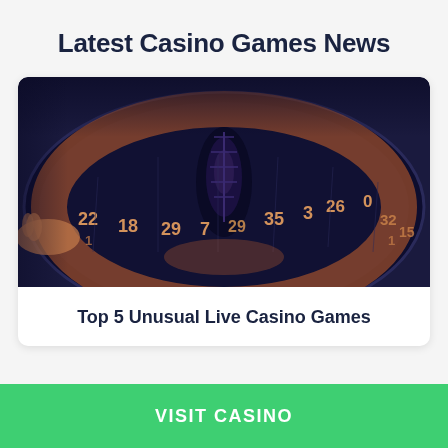Latest Casino Games News
[Figure (photo): Close-up of a roulette wheel with dark blue and orange tones, showing numbers 22, 18, 29, 7, 29, 35, 3, 26, 0, 32, 15 around the wheel, with a hand visible on the left side.]
Top 5 Unusual Live Casino Games
VISIT CASINO